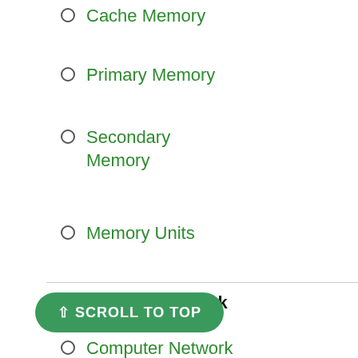Cache Memory
Primary Memory
Secondary Memory
Memory Units
Computer Network
Computer Network
Computer Virus
Computer Virus